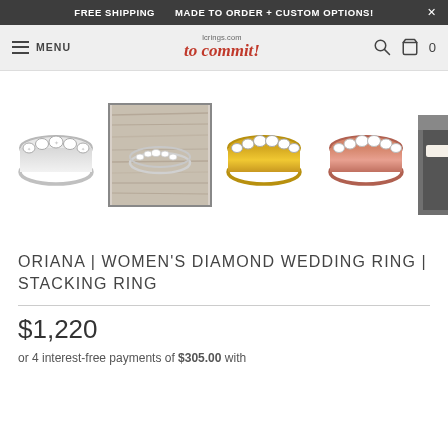FREE SHIPPING   MADE TO ORDER + CUSTOM OPTIONS!   X
MENU   to commit!   0
[Figure (photo): Five product images of diamond wedding/stacking rings: silver ring with 5 diamonds, ring on wooden surface, yellow gold ring, rose gold ring, and partial view of ring in box.]
ORIANA | WOMEN'S DIAMOND WEDDING RING | STACKING RING
$1,220
or 4 interest-free payments of $305.00 with